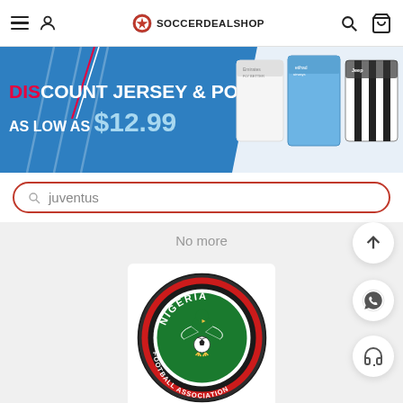SOCCERDEALSHOP
[Figure (infographic): Promotional banner: DISCOUNT JERSEY & POLO AS LOW AS $12.99 with soccer jerseys (Arsenal, Manchester City, Juventus) on the right side]
juventus (search bar input)
No more
[Figure (logo): Nigeria Football Association circular badge/logo with eagle and soccer ball, green and red colors on white background]